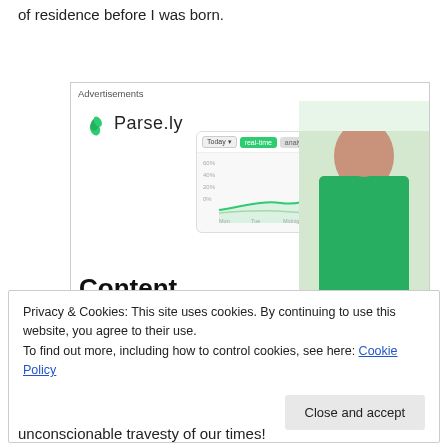of residence before I was born.
[Figure (screenshot): Parse.ly advertisement showing logo, dashboard screenshot with line chart, woman in green sweater, and headline 'Content Analytics Made Easy']
Privacy & Cookies: This site uses cookies. By continuing to use this website, you agree to their use.
To find out more, including how to control cookies, see here: Cookie Policy
unconscionable travesty of our times!